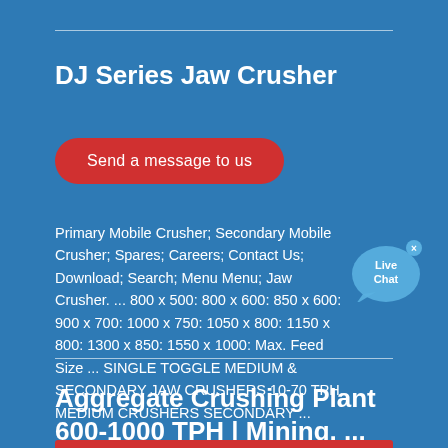DJ Series Jaw Crusher
Send a message to us
Primary Mobile Crusher; Secondary Mobile Crusher; Spares; Careers; Contact Us; Download; Search; Menu Menu; Jaw Crusher. ... 800 x 500: 800 x 600: 850 x 600: 900 x 700: 1000 x 750: 1050 x 800: 1150 x 800: 1300 x 850: 1550 x 1000: Max. Feed Size ... SINGLE TOGGLE MEDIUM & SECONDARY JAW CRUSHERS 10-70 TPH. MEDIUM CRUSHERS SECONDARY ...
Aggregate Crushing Plant 600-1000 TPH | Mining, ...